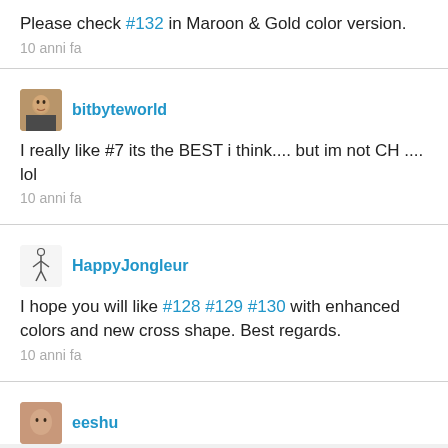Please check #132 in Maroon & Gold color version.
10 anni fa
bitbyteworld
I really like #7 its the BEST i think.... but im not CH .... lol
10 anni fa
HappyJongleur
I hope you will like #128 #129 #130 with enhanced colors and new cross shape. Best regards.
10 anni fa
eeshu